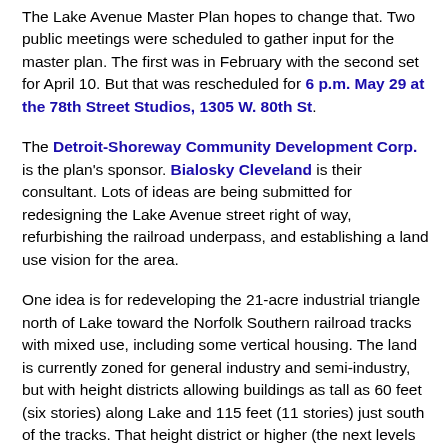The Lake Avenue Master Plan hopes to change that. Two public meetings were scheduled to gather input for the master plan. The first was in February with the second set for April 10. But that was rescheduled for 6 p.m. May 29 at the 78th Street Studios, 1305 W. 80th St.
The Detroit-Shoreway Community Development Corp. is the plan's sponsor. Bialosky Cleveland is their consultant. Lots of ideas are being submitted for redesigning the Lake Avenue street right of way, refurbishing the railroad underpass, and establishing a land use vision for the area.
One idea is for redeveloping the 21-acre industrial triangle north of Lake toward the Norfolk Southern railroad tracks with mixed use, including some vertical housing. The land is currently zoned for general industry and semi-industry, but with height districts allowing buildings as tall as 60 feet (six stories) along Lake and 115 feet (11 stories) just south of the tracks. That height district or higher (the next levels up would permit 175 and 250 feet) would allow great views of Edgewater Park, Lake Erie and downtown Cleveland